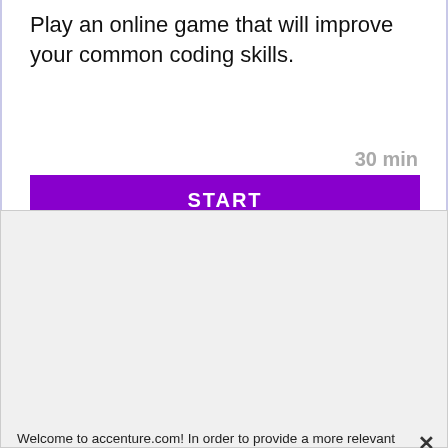Play an online game that will improve your common coding skills.
30 min
START
Welcome to accenture.com! In order to provide a more relevant experience for you, we use cookies to enable some website functionality. Cookies help us see which articles most interest you; allow you to easily share articles on social media; permit us to deliver content, jobs and ads tailored to your interests and locations; and provide many other site benefits. For more information, please review our Cookies Policy and Privacy Statement.
› Cookies Settings